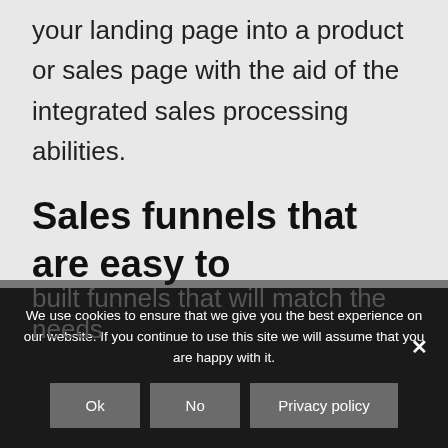your landing page into a product or sales page with the aid of the integrated sales processing abilities.
Sales funnels that are easy to comprehend
Clickfunnels has 6 personalized and pre-built funnels that will match the needs
We use cookies to ensure that we give you the best experience on our website. If you continue to use this site we will assume that you are happy with it.